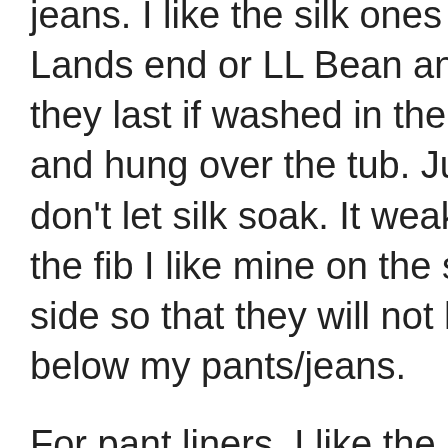jeans. I like the silk ones from Lands end or LL Bean and they last if washed in the sink and hung over the tub. Just don't let silk soak. It weakens the fiber. I like mine on the short side so that they will not hang below my pants/jeans. For pant liners, I like the LL Bean better than Lands End because Lands End has rather long prominent cuffs at the ankle